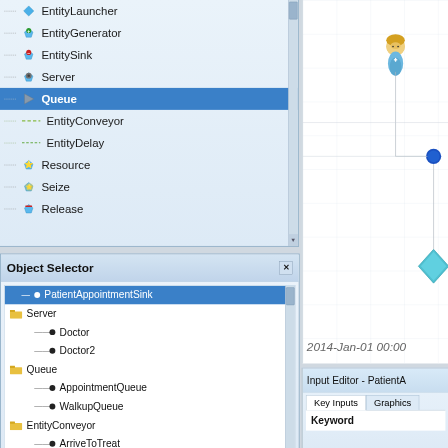[Figure (screenshot): Simulation software UI showing component library panel with items: EntityLauncher, EntityGenerator, EntitySink, Server, Queue (selected/highlighted), EntityConveyor, EntityDelay, Resource, Seize, Release]
[Figure (screenshot): Object Selector panel showing tree view with: PatientAppointmentSink (selected), Server folder (Doctor, Doctor2), Queue folder (AppointmentQueue, WalkupQueue), EntityConveyor folder (ArriveToTreat, ArriveToTreat2, TreatToLeave)]
[Figure (screenshot): Simulation canvas area showing a 2D simulation with avatar figures, blue diamond shape, grid lines, and date text 2014-Jan-01 00:00]
[Figure (screenshot): Input Editor panel for PatientA with Key Inputs and Graphics tabs, showing Keyword label]